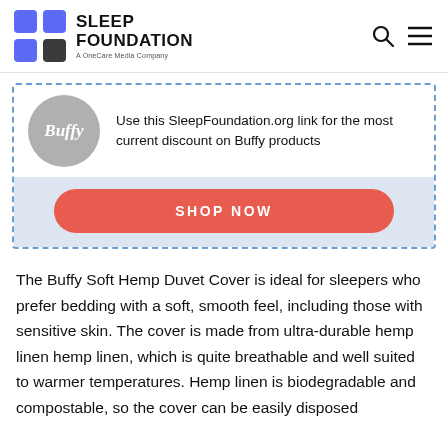SLEEP FOUNDATION — A OneCare Media Company
[Figure (infographic): Buffy brand promotional ad block with dashed blue border. Top section: Buffy circular gray logo on left, text 'Use this SleepFoundation.org link for the most current discount on Buffy products' on right. Bottom section: light blue background with red 'SHOP NOW' pill button.]
The Buffy Soft Hemp Duvet Cover is ideal for sleepers who prefer bedding with a soft, smooth feel, including those with sensitive skin. The cover is made from ultra-durable hemp linen hemp linen, which is quite breathable and well suited to warmer temperatures. Hemp linen is biodegradable and compostable, so the cover can be easily disposed